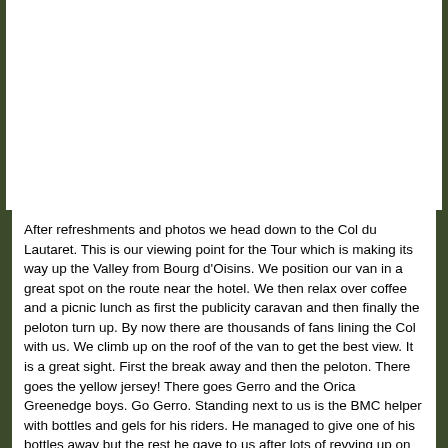[Figure (photo): Photo area at top of page, white/blank in this view, with dark green side borders]
After refreshments and photos we head down to the Col du Lautaret. This is our viewing point for the Tour which is making its way up the Valley from Bourg d'Oisins. We position our van in a great spot on the route near the hotel. We then relax over coffee and a picnic lunch as first the publicity caravan and then finally the peloton turn up. By now there are thousands of fans lining the Col with us. We climb up on the roof of the van to get the best view. It is a great sight. First the break away and then the peloton. There goes the yellow jersey! There goes Gerro and the Orica Greenedge boys. Go Gerro. Standing next to us is the BMC helper with bottles and gels for his riders. He managed to give one of his bottles away but the rest he gave to us after lots of revving up on our part. A highlight for Dave our only BMC bike rider.